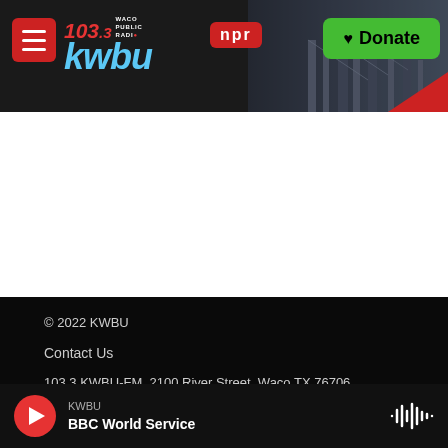[Figure (screenshot): KWBU 103.3 NPR radio station website header with logo, NPR badge, and green Donate button, with city skyline photo in background]
© 2022 KWBU
Contact Us
103.3 KWBU-FM, 2100 River Street, Waco TX 76706
254-710-3472
KWBU
BBC World Service